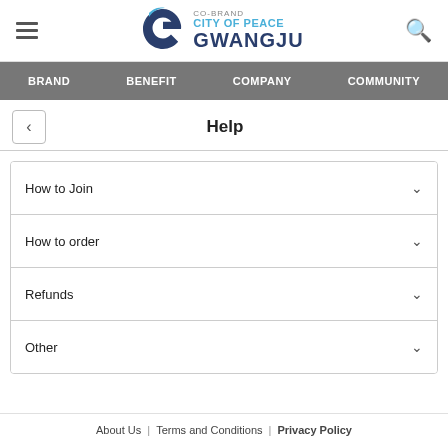CO-BRAND CITY OF PEACE GWANGJU
BRAND | BENEFIT | COMPANY | COMMUNITY
Help
How to Join
How to order
Refunds
Other
About Us | Terms and Conditions | Privacy Policy